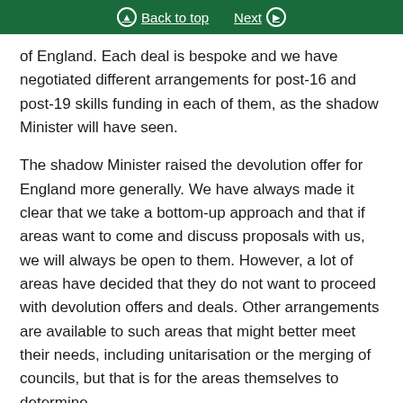Back to top | Next
of England. Each deal is bespoke and we have negotiated different arrangements for post-16 and post-19 skills funding in each of them, as the shadow Minister will have seen.
The shadow Minister raised the devolution offer for England more generally. We have always made it clear that we take a bottom-up approach and that if areas want to come and discuss proposals with us, we will always be open to them. However, a lot of areas have decided that they do not want to proceed with devolution offers and deals. Other arrangements are available to such areas that might better meet their needs, including unitarisation or the merging of councils, but that is for the areas themselves to determine.